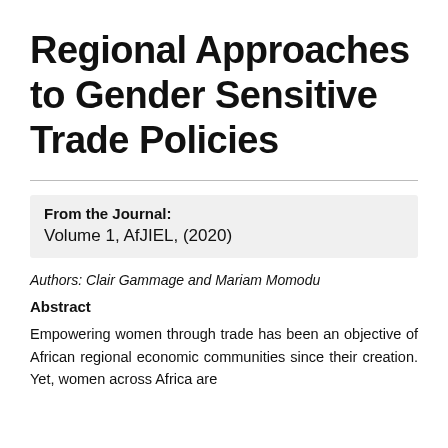Regional Approaches to Gender Sensitive Trade Policies
From the Journal: Volume 1, AfJIEL, (2020)
Authors: Clair Gammage and Mariam Momodu
Abstract
Empowering women through trade has been an objective of African regional economic communities since their creation. Yet, women across Africa are